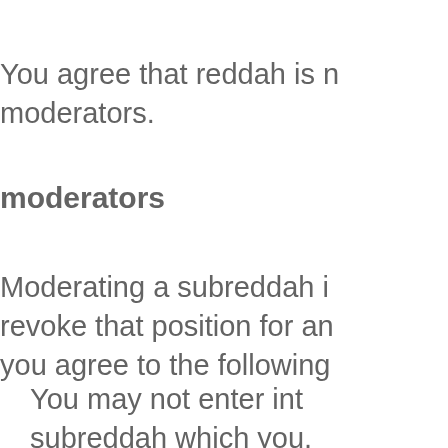You agree that reddah is n moderators.
moderators
Moderating a subreddah i revoke that position for an you agree to the following
You may not enter int subreddah which you. You may not perform or favor from third-pa